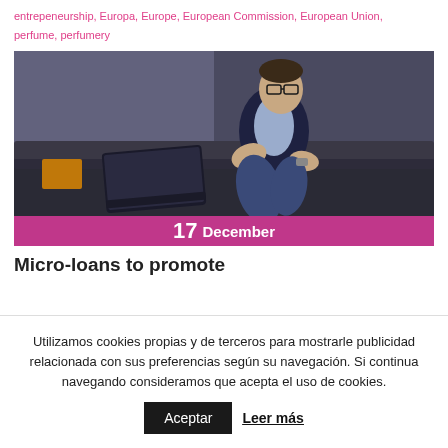entrepeneurship, Europa, Europe, European Commission, European Union, perfume, perfumery
No Comment
[Figure (photo): Young man with glasses sitting on a sofa using a laptop computer]
17 December
Micro-loans to promote
Utilizamos cookies propias y de terceros para mostrarle publicidad relacionada con sus preferencias según su navegación. Si continua navegando consideramos que acepta el uso de cookies.
Aceptar
Leer más